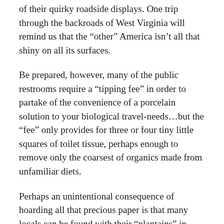of their quirky roadside displays. One trip through the backroads of West Virginia will remind us that the “other” America isn’t all that shiny on all its surfaces.
Be prepared, however, many of the public restrooms require a “tipping fee” in order to partake of the convenience of a porcelain solution to your biological travel-needs…but the “fee” only provides for three or four tiny little squares of toilet tissue, perhaps enough to remove only the coarsest of organics made from unfamiliar diets.
Perhaps an unintentional consequence of hoarding all that precious paper is that many locals can be found with their “plantains” in-hand urinating in public places or on the side of roadways as a way of national protest. It’s OK though, it helps you to feel